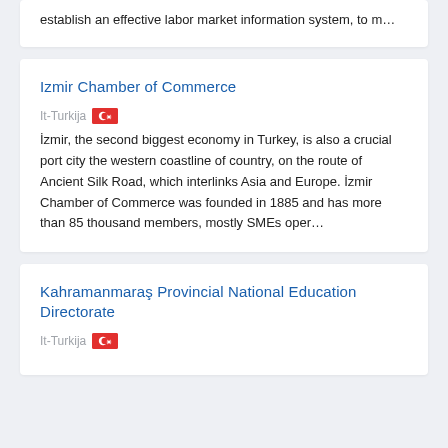establish an effective labor market information system, to m…
Izmir Chamber of Commerce
It-Turkija
İzmir, the second biggest economy in Turkey, is also a crucial port city the western coastline of country, on the route of Ancient Silk Road, which interlinks Asia and Europe. İzmir Chamber of Commerce was founded in 1885 and has more than 85 thousand members, mostly SMEs oper…
Kahramanmaraş Provincial National Education Directorate
It-Turkija